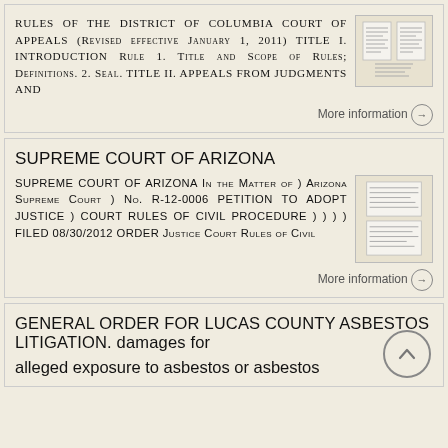RULES OF THE DISTRICT OF COLUMBIA COURT OF APPEALS (Revised effective January 1, 2011) TITLE I. INTRODUCTION Rule 1. Title and Scope of Rules; Definitions. 2. Seal. TITLE II. APPEALS FROM JUDGMENTS AND
[Figure (other): Thumbnail image of document pages]
More information →
SUPREME COURT OF ARIZONA
SUPREME COURT OF ARIZONA In the Matter of ) Arizona Supreme Court ) No. R-12-0006 PETITION TO ADOPT JUSTICE ) COURT RULES OF CIVIL PROCEDURE ) ) ) ) FILED 08/30/2012 ORDER Justice Court Rules of Civil
[Figure (other): Thumbnail image of document pages]
More information →
GENERAL ORDER FOR LUCAS COUNTY ASBESTOS LITIGATION. damages for alleged exposure to asbestos or asbestos